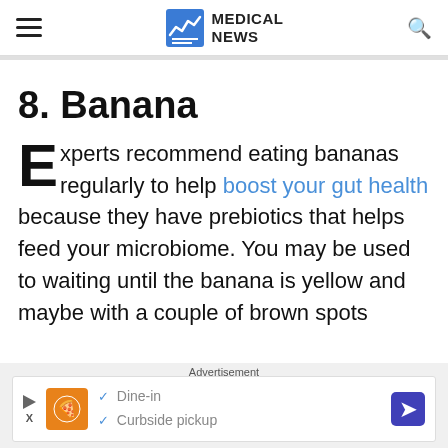MEDICAL NEWS
8. Banana
Experts recommend eating bananas regularly to help boost your gut health because they have prebiotics that helps feed your microbiome. You may be used to waiting until the banana is yellow and maybe with a couple of brown spots
Advertisement